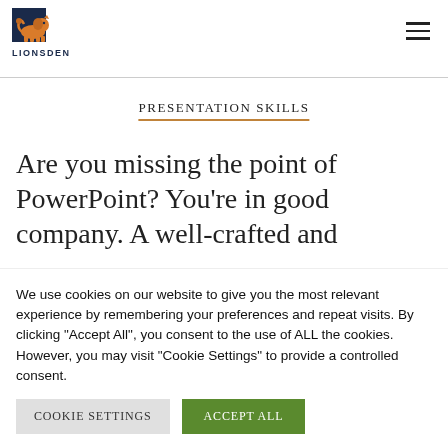[Figure (logo): LionsDen logo: orange lion illustration above text 'LIONSDEN' in dark navy/blue capitals]
Presentation Skills
Are you missing the point of PowerPoint? You’re in good company. A well-crafted and
We use cookies on our website to give you the most relevant experience by remembering your preferences and repeat visits. By clicking “Accept All”, you consent to the use of ALL the cookies. However, you may visit "Cookie Settings" to provide a controlled consent.
Cookie Settings | Accept All